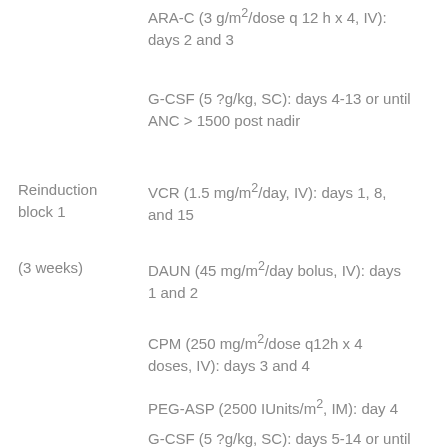ARA-C (3 g/m²/dose q 12 h x 4, IV): days 2 and 3
G-CSF (5 ?g/kg, SC): days 4-13 or until ANC > 1500 post nadir
Reinduction block 1
VCR (1.5 mg/m²/day, IV): days 1, 8, and 15
(3 weeks)
DAUN (45 mg/m²/day bolus, IV): days 1 and 2
CPM (250 mg/m²/dose q12h x 4 doses, IV): days 3 and 4
PEG-ASP (2500 IUnits/m², IM): day 4
G-CSF (5 ?g/kg, SC): days 5-14 or until